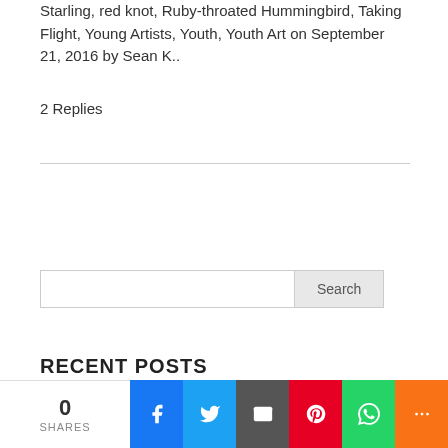Starling, red knot, Ruby-throated Hummingbird, Taking Flight, Young Artists, Youth, Youth Art on September 21, 2016 by Sean K..
2 Replies
[Figure (other): Search input box with Search button]
RECENT POSTS
A Celebration of BIPOC Outdoors!
Art in Nature: “How to Catch a Walrus in the Woods”
Nature in a Minute: The Blues
Nature Notes for Orchard Cove – August 14, 2020
0 SHARES | Facebook | Twitter | Email | Pinterest | WhatsApp | More